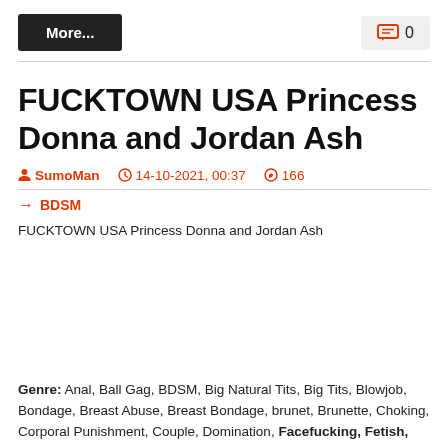More...   0
FUCKTOWN USA Princess Donna and Jordan Ash
SumoMan   14-10-2021, 00:37   166
→ BDSM
FUCKTOWN USA Princess Donna and Jordan Ash
Genre: Anal, Ball Gag, BDSM, Big Natural Tits, Big Tits, Blowjob, Bondage, Breast Abuse, Breast Bondage, brunet, Brunette, Choking, Corporal Punishment, Couple, Domination, Facefucking, Fetish, Fingering, Flogging, Foot Femme, Hard...